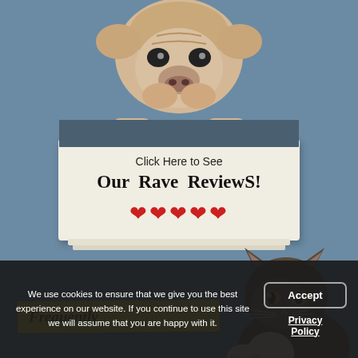[Figure (photo): Bulldog puppy leaning over a dark banner ribbon at the top of the page, holding a sign with text]
Click Here to See Our Rave Reviews! ❤❤❤❤❤
[Figure (photo): Maine Coon cat peeking from the bottom right, holding a yellow sticky note that reads 'Frequently']
Frequently
We use cookies to ensure that we give you the best experience on our website. If you continue to use this site we will assume that you are happy with it.
Accept
Privacy Policy